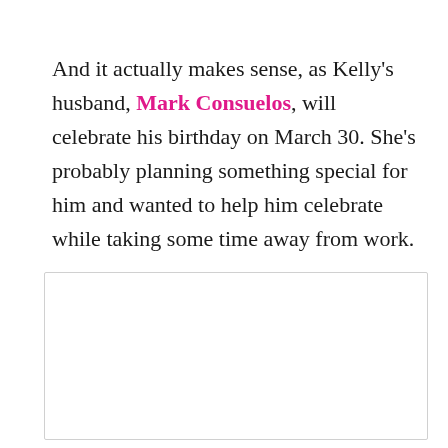And it actually makes sense, as Kelly's husband, Mark Consuelos, will celebrate his birthday on March 30. She's probably planning something special for him and wanted to help him celebrate while taking some time away from work.
[Figure (other): Empty white box with light gray border, likely a placeholder for an image]